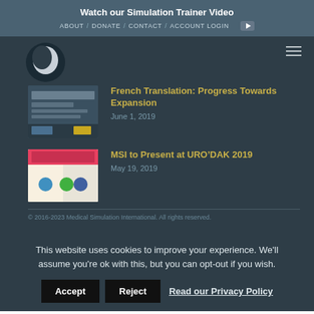Watch our Simulation Trainer Video
ABOUT / DONATE / CONTACT / ACCOUNT LOGIN
[Figure (logo): Circular logo with globe/moon icon on dark background]
Hamburger menu icon
[Figure (photo): Thumbnail image for French Translation article]
French Translation: Progress Towards Expansion
June 1, 2019
[Figure (photo): Thumbnail image for URO'DAK 2019 article]
MSI to Present at URO’DAK 2019
May 19, 2019
© 2016-2023 Medical Simulation International. All rights reserved.
This website uses cookies to improve your experience. We'll assume you're ok with this, but you can opt-out if you wish.
Accept   Reject   Read our Privacy Policy